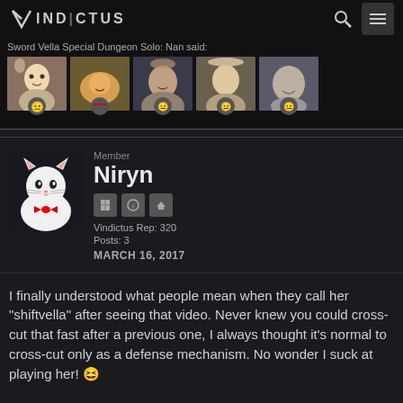VINDICTUS
Sword Vella Special Dungeon Solo: Nan said:
[Figure (screenshot): Row of 5 thumbnail images from Vindictus forum with badge icons below each]
Member
Niryn
Vindictus Rep: 320
Posts: 3
MARCH 16, 2017
I finally understood what people mean when they call her "shiftvella" after seeing that video. Never knew you could cross-cut that fast after a previous one, I always thought it's normal to cross-cut only as a defense mechanism. No wonder I suck at playing her! 😆